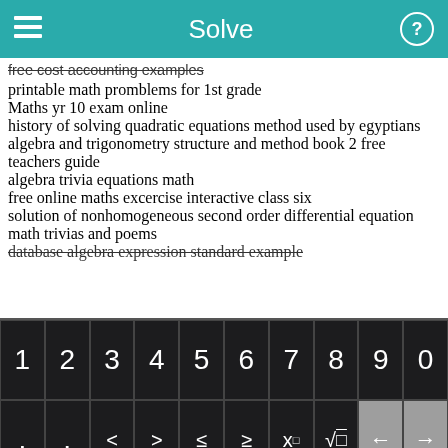Solve
free cost accounting examples
printable math promblems for 1st grade
Maths yr 10 exam online
history of solving quadratic equations method used by egyptians
algebra and trigonometry structure and method book 2 free teachers guide
algebra trivia equations math
free online maths excercise interactive class six
solution of nonhomogeneous second order differential equation
math trivias and poems
database algebra expression standard example
[Figure (screenshot): Mobile math solver app keyboard with three rows: row 1 has digits 1-9,0; row 2 has . , < > ≤ ≥ x^□ √□ and left/right arrow keys; row 3 has f(x), x subscript, fraction, absolute value, grouping, *, / and backspace; bottom row has abc, undo, x, y, =, +, - and green Solve! button]